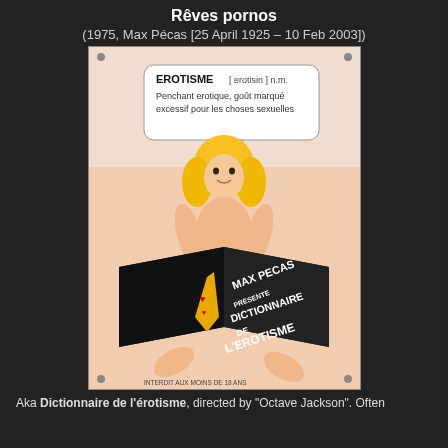Rêves pornos
(1975, Max Pécas [25 April 1925 – 10 Feb 2003])
[Figure (photo): Movie poster for 'Rêves pornos' (1975) showing an illustrated blonde woman holding an open book titled 'Dictionnaire de l'Erotisme' by Max Pecas, with a speech bubble defining EROTISME. Text at bottom reads 'INTERDIT AUX MOINS DE 18 ANS'.]
Aka Dictionnaire de l'érotisme, directed by "Octave Jackson". Often